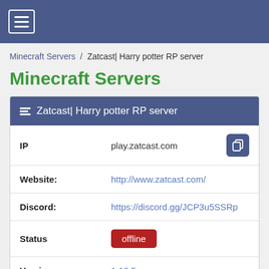☰ (navigation menu)
Minecraft Servers / Zatcast| Harry potter RP server
Minecraft Servers
| Field | Value |
| --- | --- |
| IP | play.zatcast.com |
| Website: | http://www.zatcast.com/ |
| Discord: | https://discord.gg/JCP3u5SSRp |
| Status | offline |
| Version | 1.16.5 |